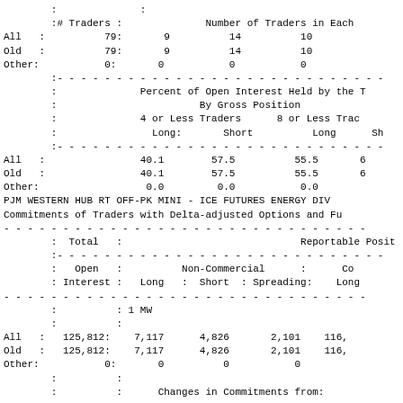|  | # Traders |  | Number of Traders in Each |  |  |  |
| --- | --- | --- | --- | --- | --- | --- |
| All | 79: | 9 | 14 | 10 |  |  |
| Old | 79: | 9 | 14 | 10 |  |  |
| Other: | 0: | 0 | 0 | 0 |  |  |
|  |  | Percent of Open Interest Held by the |  |  | By Gross Position |  |
| --- | --- | --- | --- | --- | --- | --- |
|  |  | 4 or Less Traders |  | 8 or Less Trad |  |  |
|  |  | Long: | Short | Long | Sh |  |
| All | : | 40.1 | 57.5 | 55.5 | 6 |  |
| Old | : | 40.1 | 57.5 | 55.5 | 6 |  |
| Other: |  | 0.0 | 0.0 | 0.0 |  |  |
PJM WESTERN HUB RT OFF-PK MINI - ICE FUTURES ENERGY DIV
Commitments of Traders with Delta-adjusted Options and Fu
|  | Total |  | Reportable Posit |  |  |  |
| --- | --- | --- | --- | --- | --- | --- |
|  | Open |  | Non-Commercial |  | Co |  |
|  | Interest | Long | Short | Spreading: | Long |  |
|  |  | 1 MW |  |  |  |  |
| All | 125,812: | 7,117 | 4,826 | 2,101 | 116, |  |
| Old | 125,812: | 7,117 | 4,826 | 2,101 | 116, |  |
| Other: | 0: | 0 | 0 | 0 |  |  |
|  |  |  | Changes in Commitments from: |  |  |  |